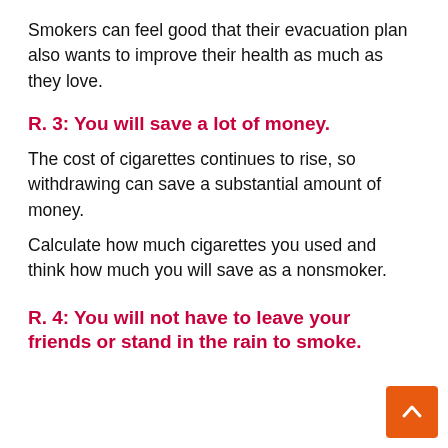Smokers can feel good that their evacuation plan also wants to improve their health as much as they love.
R. 3: You will save a lot of money.
The cost of cigarettes continues to rise, so withdrawing can save a substantial amount of money.
Calculate how much cigarettes you used and think how much you will save as a nonsmoker.
R. 4: You will not have to leave your friends or stand in the rain to smoke.